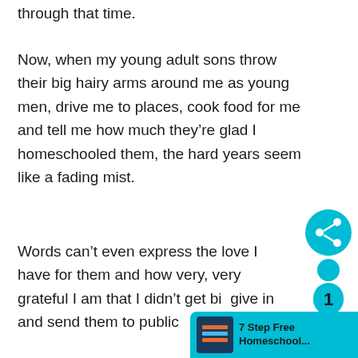through that time.
Now, when my young adult sons throw their big hairy arms around me as young men, drive me to places, cook food for me and tell me how much they’re glad I homeschooled them, the hard years seem like a fading mist.
Words can’t even express the love I have for them and how very, very grateful I am that I didn’t get bit give in and send them to public school.
[Figure (infographic): Teal share/social icon circle and person figure with number 1, and a '7 Step Free Homeschool...' promotional banner in teal at bottom right]